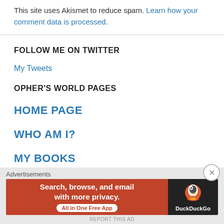This site uses Akismet to reduce spam. Learn how your comment data is processed.
FOLLOW ME ON TWITTER
My Tweets
OPHER'S WORLD PAGES
HOME PAGE
WHO AM I?
MY BOOKS
[Figure (infographic): DuckDuckGo advertisement banner: orange left panel with text 'Search, browse, and email with more privacy. All in One Free App' and dark right panel with DuckDuckGo duck logo and brand name. Advertisements label above. Close button (X) top right. REPORT THIS AD text at bottom.]